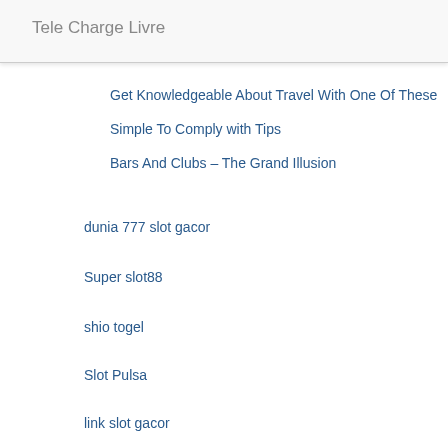Tele Charge Livre
Get Knowledgeable About Travel With One Of These
Simple To Comply with Tips
Bars And Clubs – The Grand Illusion
dunia 777 slot gacor
Super slot88
shio togel
Slot Pulsa
link slot gacor